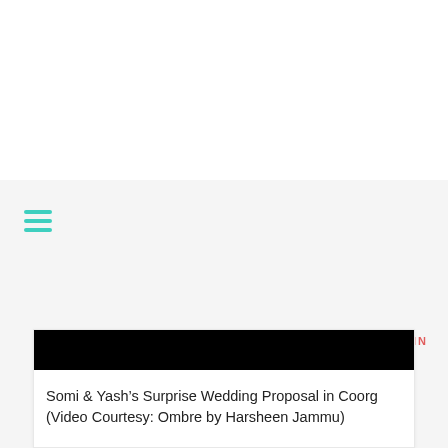[Figure (screenshot): Navigation bar with hamburger menu icon in teal/turquoise color and LOGIN link in red/salmon color on a light gray background]
[Figure (photo): Black image placeholder for a video thumbnail]
Somi & Yash’s Surprise Wedding Proposal in Coorg (Video Courtesy: Ombre by Harsheen Jammu)